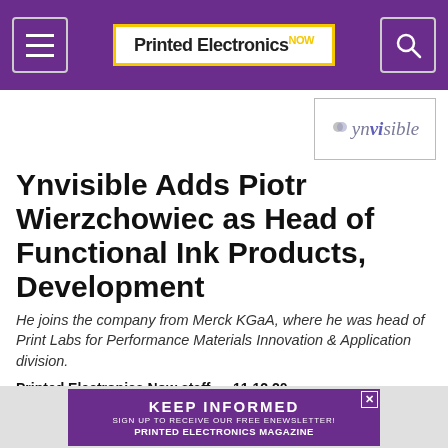Printed Electronics NOW
[Figure (logo): Ynvisible company logo in a bordered box, top right area]
Ynvisible Adds Piotr Wierzchowiec as Head of Functional Ink Products, Development
He joins the company from Merck KGaA, where he was head of Print Labs for Performance Materials Innovation & Application division.
Printed Electronics Now staff • 11.12.20
[Figure (infographic): Purple banner advertisement: KEEP INFORMED — SIGN UP TO RECEIVE OUR FREE ENEWSLETTER! PRINTED ELECTRONICS MAGAZINE]